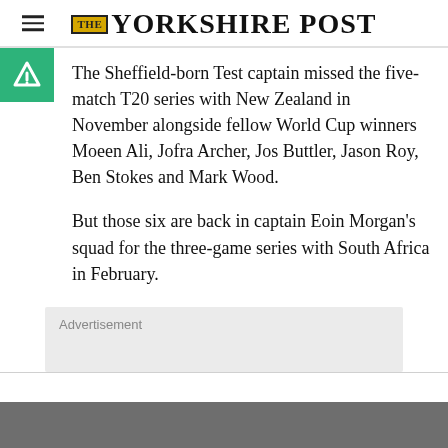THE YORKSHIRE POST
The Sheffield-born Test captain missed the five-match T20 series with New Zealand in November alongside fellow World Cup winners Moeen Ali, Jofra Archer, Jos Buttler, Jason Roy, Ben Stokes and Mark Wood.
But those six are back in captain Eoin Morgan's squad for the three-game series with South Africa in February.
Advertisement